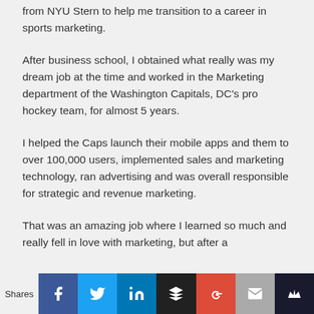from NYU Stern to help me transition to a career in sports marketing.
After business school, I obtained what really was my dream job at the time and worked in the Marketing department of the Washington Capitals, DC's pro hockey team, for almost 5 years.
I helped the Caps launch their mobile apps and them to over 100,000 users, implemented sales and marketing technology, ran advertising and was overall responsible for strategic and revenue marketing.
That was an amazing job where I learned so much and really fell in love with marketing, but after a
Shares | Facebook | Twitter | LinkedIn | Buffer | G+ | Email | Crown